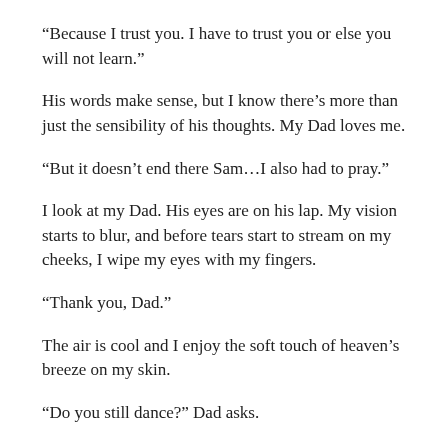“Because I trust you. I have to trust you or else you will not learn.”
His words make sense, but I know there’s more than just the sensibility of his thoughts. My Dad loves me.
“But it doesn’t end there Sam…I also had to pray.”
I look at my Dad. His eyes are on his lap. My vision starts to blur, and before tears start to stream on my cheeks, I wipe my eyes with my fingers.
“Thank you, Dad.”
The air is cool and I enjoy the soft touch of heaven’s breeze on my skin.
“Do you still dance?” Dad asks.